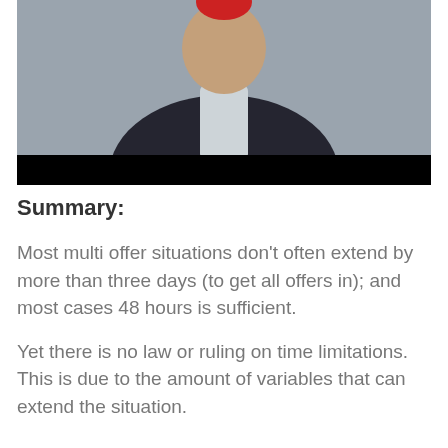[Figure (photo): A man in a dark suit and light shirt with a red logo/graphic partially visible at the top. A black bar runs across the bottom of the image.]
Summary:
Most multi offer situations don't often extend by more than three days (to get all offers in); and most cases 48 hours is sufficient.
Yet there is no law or ruling on time limitations. This is due to the amount of variables that can extend the situation.